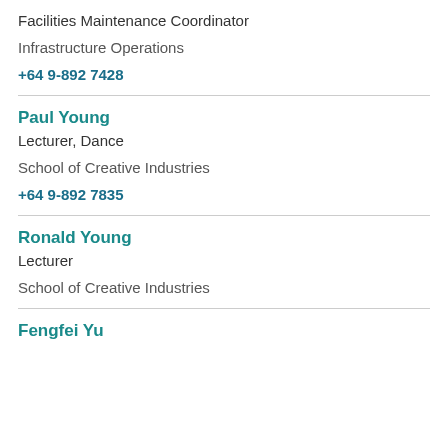Facilities Maintenance Coordinator
Infrastructure Operations
+64 9-892 7428
Paul Young
Lecturer, Dance
School of Creative Industries
+64 9-892 7835
Ronald Young
Lecturer
School of Creative Industries
Fengfei Yu